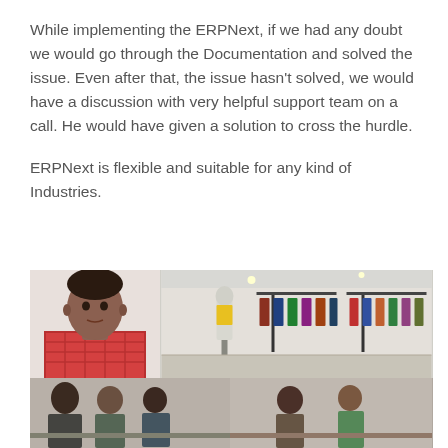While implementing the ERPNext, if we had any doubt we would go through the Documentation and solved the issue. Even after that, the issue hasn't solved, we would have a discussion with very helpful support team on a call. He would have given a solution to cross the hurdle.
ERPNext is flexible and suitable for any kind of Industries.
[Figure (photo): Collage of photos: top-left shows a young man in a red checkered shirt (portrait/headshot), top-right shows a clothing store interior with a mannequin in a yellow top and racks of colorful shirts, bottom shows a group of people seated at a table in discussion.]